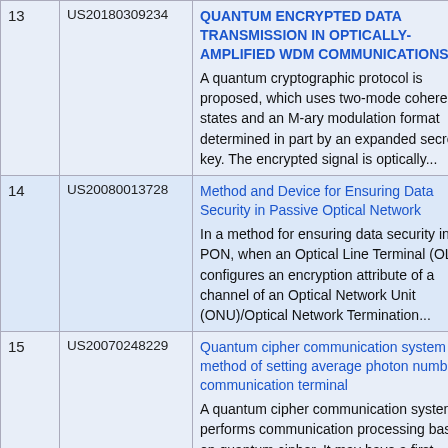| # | Patent ID | Title / Abstract |
| --- | --- | --- |
| 13 | US20180309234 | QUANTUM ENCRYPTED DATA TRANSMISSION IN OPTICALLY-AMPLIFIED WDM COMMUNICATIONS
A quantum cryptographic protocol is proposed, which uses two-mode coherent states and an M-ary modulation format determined in part by an expanded secret key. The encrypted signal is optically... |
| 14 | US20080013728 | Method and Device for Ensuring Data Security in Passive Optical Network
In a method for ensuring data security in a PON, when an Optical Line Terminal (OLT) configures an encryption attribute of a channel of an Optical Network Unit (ONU)/Optical Network Termination... |
| 15 | US20070248229 | Quantum cipher communication system and method of setting average photon number at communication terminal
A quantum cipher communication system performs communication processing based on quantum cipher. It may have a first communication terminal, a second communication terminal, and a... |